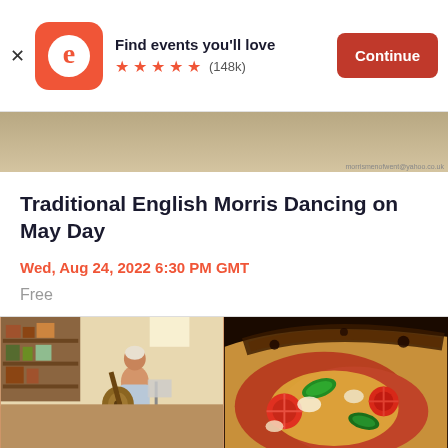[Figure (screenshot): Eventbrite app banner advertisement with logo, 'Find events you'll love', 5-star rating (148k reviews), and Continue button]
[Figure (photo): Partial hero/banner image showing a stone or wooden surface, possibly an outdoor venue]
Traditional English Morris Dancing on May Day
Wed, Aug 24, 2022 6:30 PM GMT
Free
[Figure (photo): Two photos side by side: left shows a person playing guitar in a room with shelves, right shows a close-up of pizza with basil and tomatoes]